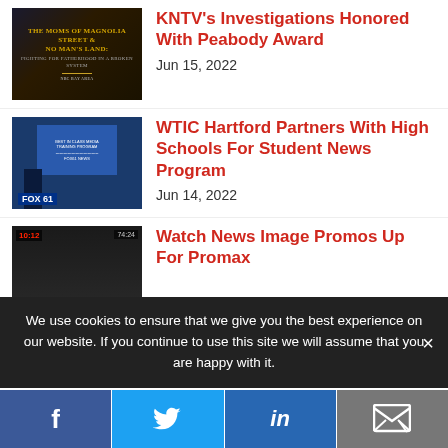[Figure (photo): Thumbnail image: dark background with golden text reading 'THE MOMS OF MAGNOLIA STREET & NO MAN'S LAND: FIGHTING FOR FATHERHOOD IN A BROKEN SYSTEM']
KNTV's Investigations Honored With Peabody Award
Jun 15, 2022
[Figure (photo): Thumbnail image: Fox61 news station event with projection screen and presenter silhouette]
WTIC Hartford Partners With High Schools For Student News Program
Jun 14, 2022
[Figure (photo): Thumbnail image: Newsroom with breaking news lower third overlay]
Watch News Image Promos Up For Promax
We use cookies to ensure that we give you the best experience on our website. If you continue to use this site we will assume that you are happy with it.